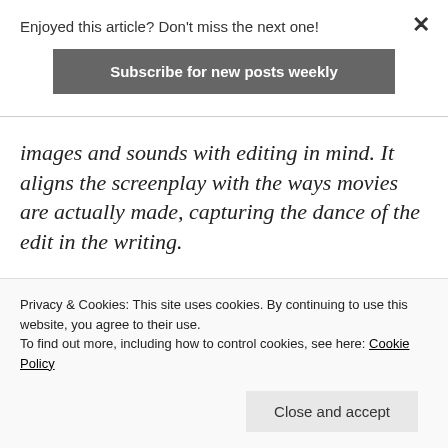Enjoyed this article? Don't miss the next one!
Subscribe for new posts weekly
images and sounds with editing in mind. It aligns the screenplay with the ways movies are actually made, capturing the dance of the edit in the writing.
We have identified a number of for-the-cut strategies screenwriters can use.
Privacy & Cookies: This site uses cookies. By continuing to use this website, you agree to their use.
To find out more, including how to control cookies, see here: Cookie Policy
Close and accept
screenwriting.